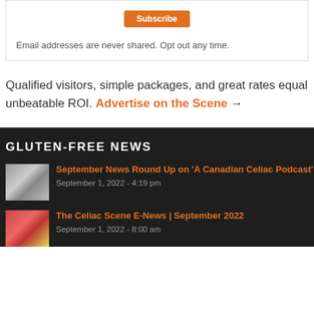Email addresses are never shared. Opt out any time.
Qualified visitors, simple packages, and great rates equal unbeatable ROI. Advertise on the Scene →
GLUTEN-FREE NEWS
September News Round Up on 'A Canadian Celiac Podcast'
September 1, 2022 - 4:19 pm
The Celiac Scene E-News | September 2022
September 1, 2022 - 8:00 am